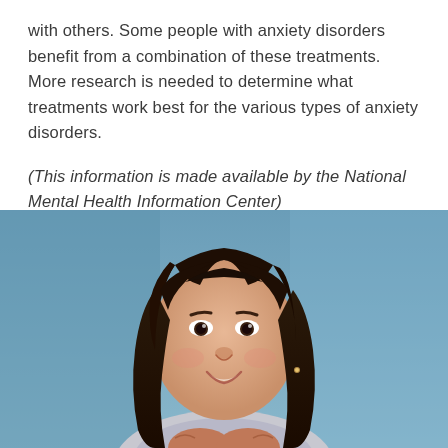with others. Some people with anxiety disorders benefit from a combination of these treatments. More research is needed to determine what treatments work best for the various types of anxiety disorders.
(This information is made available by the National Mental Health Information Center)
[Figure (photo): Portrait photo of a young girl with long dark hair, smiling, with hands clasped under her chin, against a blue-grey gradient background]